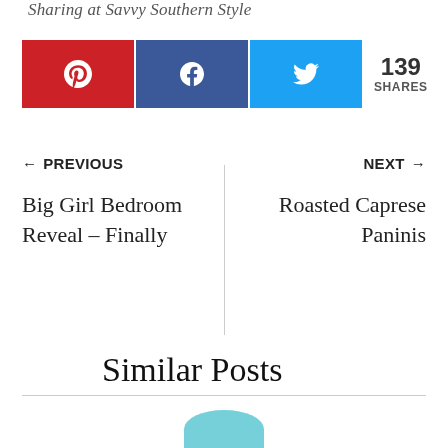Sharing at Savvy Southern Style
[Figure (infographic): Social share buttons: Pinterest (red), Facebook (dark blue), Twitter (light blue), with share count of 139 SHARES]
← PREVIOUS
Big Girl Bedroom Reveal – Finally
NEXT →
Roasted Caprese Paninis
Similar Posts